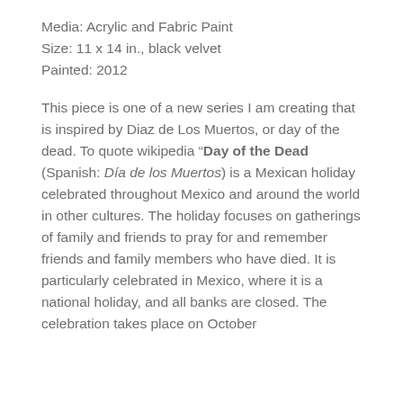Media: Acrylic and Fabric Paint
Size: 11 x 14 in., black velvet
Painted: 2012
This piece is one of a new series I am creating that is inspired by Diaz de Los Muertos, or day of the dead. To quote wikipedia “Day of the Dead (Spanish: Día de los Muertos) is a Mexican holiday celebrated throughout Mexico and around the world in other cultures. The holiday focuses on gatherings of family and friends to pray for and remember friends and family members who have died. It is particularly celebrated in Mexico, where it is a national holiday, and all banks are closed. The celebration takes place on October